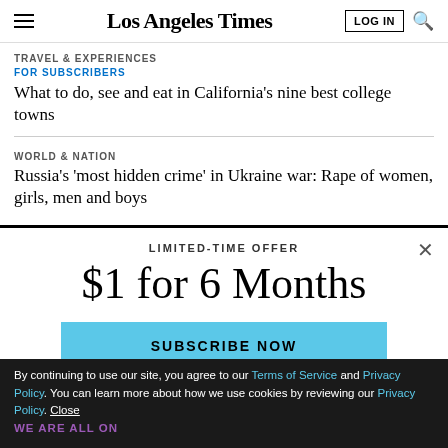Los Angeles Times
TRAVEL & EXPERIENCES
FOR SUBSCRIBERS
What to do, see and eat in California's nine best college towns
WORLD & NATION
Russia's 'most hidden crime' in Ukraine war: Rape of women, girls, men and boys
LIMITED-TIME OFFER
$1 for 6 Months
SUBSCRIBE NOW
By continuing to use our site, you agree to our Terms of Service and Privacy Policy. You can learn more about how we use cookies by reviewing our Privacy Policy. Close